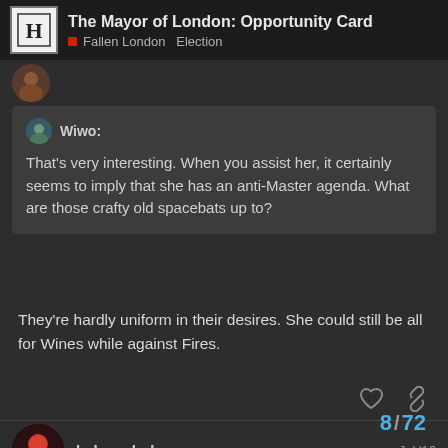The Mayor of London: Opportunity Card | Fallen London Election
Wiwo: That's very interesting. When you assist her, it certainly seems to imply that she has an anti-Master agenda. What are those crafty old spacebats up to?
They’re hardly uniform in their desires. She could still be all for Wines while against Fires.
ladysaphobyron  Jul '16
Is Jenny playing a very deep game … appearing to be working against the Masters while actually working versa?
8 / 72